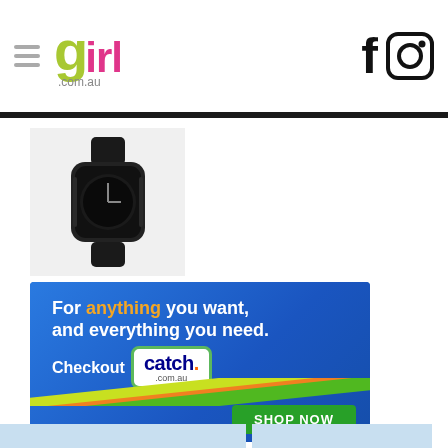girl.com.au — navigation header with Facebook and Instagram icons
[Figure (photo): Black wristwatch product photo on white background]
[Figure (infographic): Catch.com.au advertisement banner: 'For anything you want, and everything you need. Checkout catch.com.au — SHOP NOW']